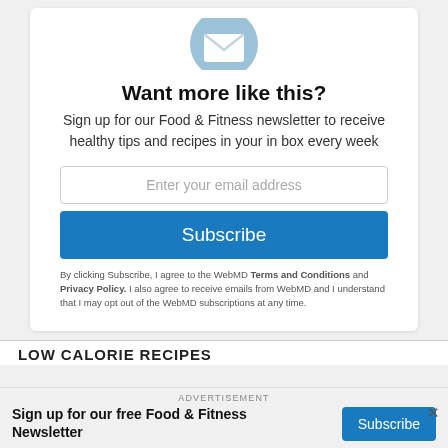[Figure (illustration): Circular blue email envelope icon]
Want more like this?
Sign up for our Food & Fitness newsletter to receive healthy tips and recipes in your in box every week
Enter your email address
Subscribe
By clicking Subscribe, I agree to the WebMD Terms and Conditions and Privacy Policy. I also agree to receive emails from WebMD and I understand that I may opt out of the WebMD subscriptions at any time.
ADVERTISEMENT
Sign up for our free Food & Fitness Newsletter
Subscribe